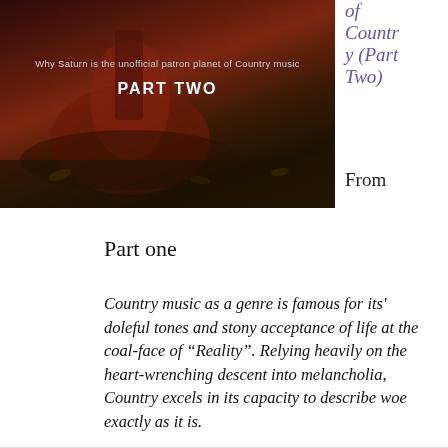[Figure (photo): Dark-toned photo of a guitar/cello on ground with leaves. Text overlay reads 'Why Saturn is the unofficial patron planet of Country music' and 'PART TWO']
of Country (Part Two)
From
Part one
Country music as a genre is famous for its' doleful tones and stony acceptance of life at the coal-face of “Reality”. Relying heavily on the heart-wrenching descent into melancholia, Country excels in its capacity to describe woe exactly as it is.
A defining characteristic of the Country genre is its ability to confront pain, loss and loneliness in a matter-of-fact way, leaving little room for either sentiment or denial. From an astrological